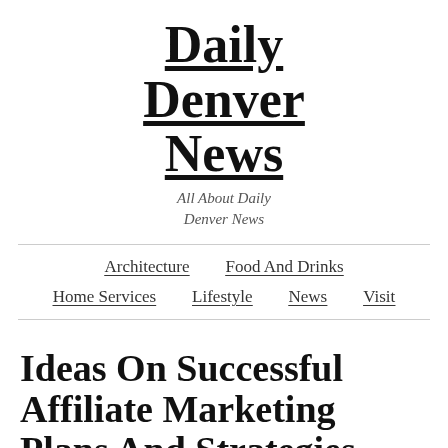Daily Denver News
All About Daily Denver News
Architecture | Food And Drinks | Home Services | Lifestyle | News | Visit
Ideas On Successful Affiliate Marketing Plans And Strategies